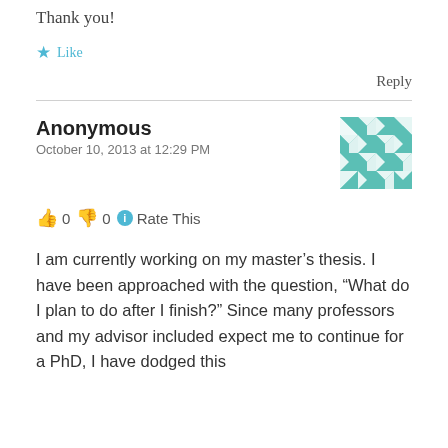Thank you!
Like
Reply
Anonymous
October 10, 2013 at 12:29 PM
👍 0 👎 0 ℹ Rate This
I am currently working on my master's thesis. I have been approached with the question, "What do I plan to do after I finish?" Since many professors and my advisor included expect me to continue for a PhD, I have dodged this